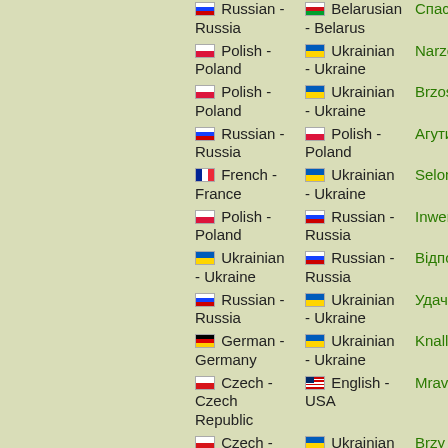Russian - Russia | Belarusian - Belarus | Спасибо
Polish - Poland | Ukrainian - Ukraine | Narzekać
Polish - Poland | Ukrainian - Ukraine | Brzoskwinia
Russian - Russia | Polish - Poland | Агути
French - France | Ukrainian - Ukraine | Selon
Polish - Poland | Russian - Russia | Inwentarz
Ukrainian - Ukraine | Russian - Russia | Відповідно
Russian - Russia | Ukrainian - Ukraine | Удача
German - Germany | Ukrainian - Ukraine | Knall
Czech - Czech Republic | English - USA | Mravenečník
Czech - Czech Republic | Ukrainian - Ukraine | Brzy